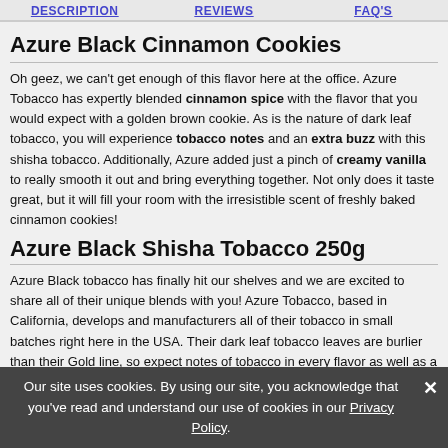DESCRIPTION | REVIEWS | FAQ'S
Azure Black Cinnamon Cookies
Oh geez, we can't get enough of this flavor here at the office. Azure Tobacco has expertly blended cinnamon spice with the flavor that you would expect with a golden brown cookie. As is the nature of dark leaf tobacco, you will experience tobacco notes and an extra buzz with this shisha tobacco. Additionally, Azure added just a pinch of creamy vanilla to really smooth it out and bring everything together. Not only does it taste great, but it will fill your room with the irresistible scent of freshly baked cinnamon cookies!
Azure Black Shisha Tobacco 250g
Azure Black tobacco has finally hit our shelves and we are excited to share all of their unique blends with you! Azure Tobacco, based in California, develops and manufacturers all of their tobacco in small batches right here in the USA. Their dark leaf tobacco leaves are burlier than their Gold line, so expect notes of tobacco in every flavor as well as a bit of an extra nicotine buzz. These flavors will come to you in a resealable 250g pouch, so you know the shisha will be fresh. We recommend enjoying this dark leaf shisha in a phunnel bowl with a medium-dense pack for optimal flavor.
Note: You must be 21 or over to purchase this product.
Our site uses cookies. By using our site, you acknowledge that you've read and understand our use of cookies in our Privacy Policy.